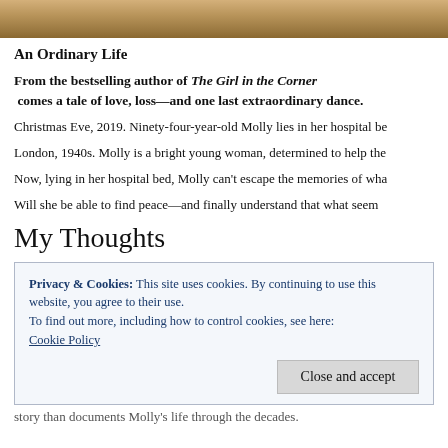[Figure (photo): Cropped top portion of a person with blonde/golden hair, close-up photo at top of page]
An Ordinary Life
From the bestselling author of The Girl in the Corner comes a tale of love, loss—and one last extraordinary dance.
Christmas Eve, 2019. Ninety-four-year-old Molly lies in her hospital be
London, 1940s. Molly is a bright young woman, determined to help the
Now, lying in her hospital bed, Molly can't escape the memories of wha
Will she be able to find peace—and finally understand that what seem
My Thoughts
Privacy & Cookies: This site uses cookies. By continuing to use this website, you agree to their use.
To find out more, including how to control cookies, see here:
Cookie Policy
[Close and accept]
story than documents Molly's life through the decades.